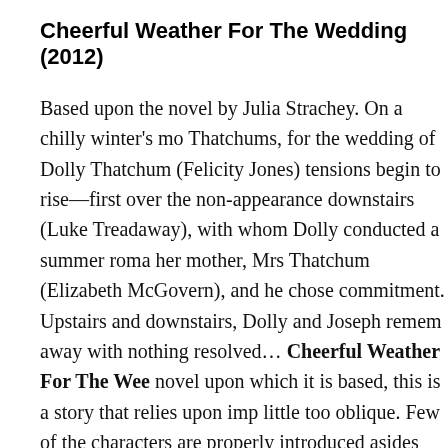Cheerful Weather For The Wedding (2012)
Based upon the novel by Julia Strachey. On a chilly winter's mo Thatchums, for the wedding of Dolly Thatchum (Felicity Jones) tensions begin to rise—first over the non-appearance downstairs (Luke Treadaway), with whom Dolly conducted a summer roma her mother, Mrs Thatchum (Elizabeth McGovern), and he chose commitment. Upstairs and downstairs, Dolly and Joseph remem away with nothing resolved… Cheerful Weather For The Wee novel upon which it is based, this is a story that relies upon imp little too oblique. Few of the characters are properly introduced asides that it's almost impossible to catch everything without th she plot, with Dolly preparing – slowly and reluctantly – for her another. The chilly present and the warmly romantic past are de whether the latter is real or being seen through a wishful haze. T to each other until it's too late, becomes increasingly frustrating funny. Felicity Jones and Luke Treadaway are effective if not pa obviously cast as the brittle and dangerously tunnel-visioned M who sees everything but says nothing. The production design a